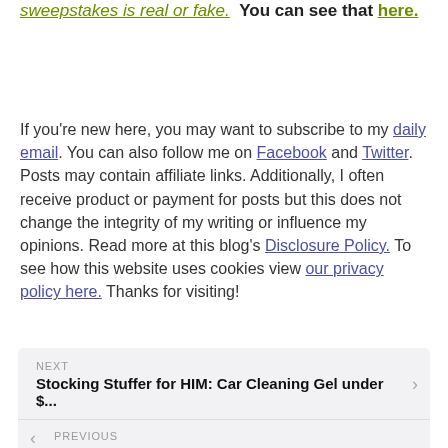sweepstakes is real or fake.  You can see that here.
If you're new here, you may want to subscribe to my daily email. You can also follow me on Facebook and Twitter. Posts may contain affiliate links. Additionally, I often receive product or payment for posts but this does not change the integrity of my writing or influence my opinions. Read more at this blog's Disclosure Policy. To see how this website uses cookies view our privacy policy here. Thanks for visiting!
NEXT
Stocking Stuffer for HIM: Car Cleaning Gel under $...
PREVIOUS